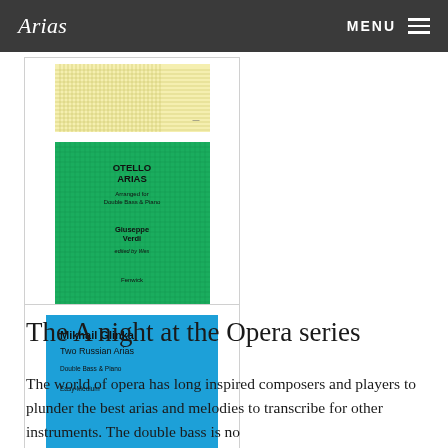Arias  MENU
[Figure (illustration): A vertical gallery/column showing three music book covers: a partially visible yellow cover at top, a green cover for 'Otello' arias, and a blue cover for Mikhail Glinka 'Two Russian Arias' for double bass and piano.]
The A night at the Opera series
The world of opera has long inspired composers and players to plunder the best arias and melodies to transcribe for other instruments. The double bass is no